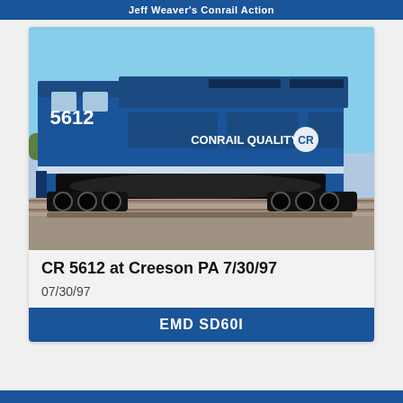Jeff Weaver's Conrail Action
[Figure (photo): A blue Conrail locomotive numbered 5612 with 'CONRAIL QUALITY' lettering on the side, photographed at Creeson PA on 7/30/97. The locomotive is an EMD SD60I model in the classic Conrail blue paint scheme, shown on tracks with gravel ballast and a clear blue sky background.]
CR 5612 at Creeson PA 7/30/97
07/30/97
EMD SD60I